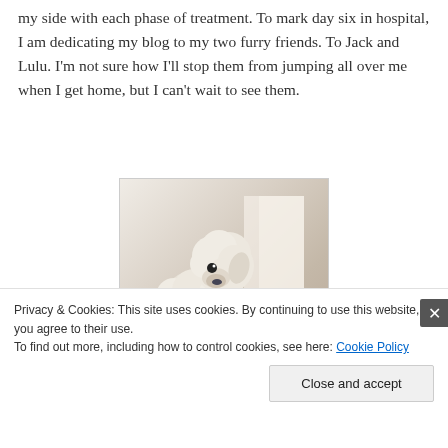my side with each phase of treatment. To mark day six in hospital, I am dedicating my blog to my two furry friends. To Jack and Lulu. I'm not sure how I'll stop them from jumping all over me when I get home, but I can't wait to see them.
[Figure (photo): A white poodle dog photographed from above/side angle, fluffy white fur, looking slightly downward. Bright light in the background.]
Privacy & Cookies: This site uses cookies. By continuing to use this website, you agree to their use.
To find out more, including how to control cookies, see here: Cookie Policy
Close and accept